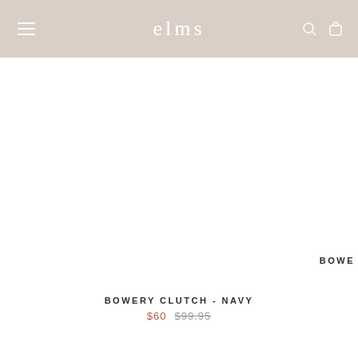elms
[Figure (photo): Product image area for Bowery Clutch - Navy (mostly white/blank in this view)]
BOWERY CLUTCH - NAVY
$60  $99.95
BOWE
ABOUT THE SHOP